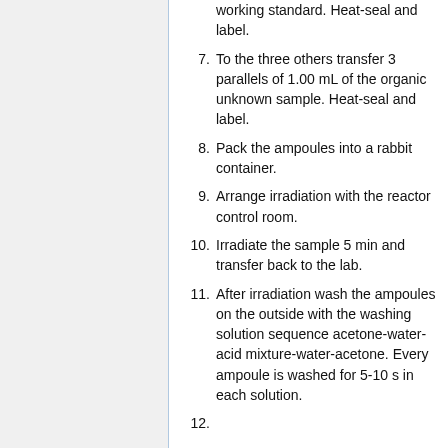working standard. Heat-seal and label.
7. To the three others transfer 3 parallels of 1.00 mL of the organic unknown sample. Heat-seal and label.
8. Pack the ampoules into a rabbit container.
9. Arrange irradiation with the reactor control room.
10. Irradiate the sample 5 min and transfer back to the lab.
11. After irradiation wash the ampoules on the outside with the washing solution sequence acetone-water-acid mixture-water-acetone. Every ampoule is washed for 5-10 s in each solution.
12. ...